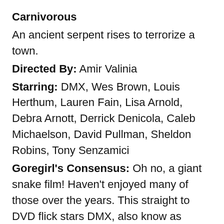Carnivorous
An ancient serpent rises to terrorize a town.
Directed By: Amir Valinia
Starring: DMX, Wes Brown, Louis Herthum, Lauren Fain, Lisa Arnold, Debra Arnott, Derrick Denicola, Caleb Michaelson, David Pullman, Sheldon Robins, Tony Senzamici
Goregirl's Consensus: Oh no, a giant snake film! Haven't enjoyed many of those over the years. This straight to DVD flick stars DMX, also know as 'Lockjaw: Rise of the Kulev Serpent'. Nothing drawing me in here. Pass.
Not Quite Hollywood
NOT QUITE HOLLYWOOD is the wild, untold story of "OZPLOITATION" movies – a time when Australian cinema got its gear off and showed the world a full-frontal